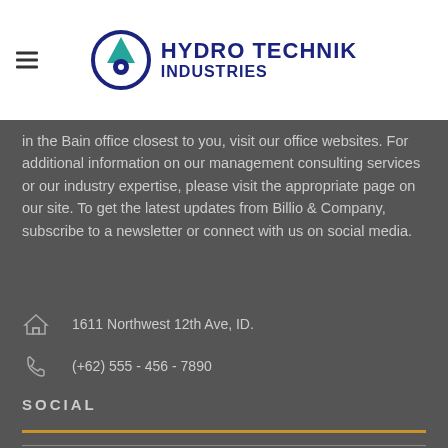[Figure (logo): Hydro Technik Industries logo with hamburger menu icon]
in the Bain office closest to you, visit our office websites. For additional information on our management consulting services or our industry expertise, please visit the appropriate page on our site. To get the latest updates from Billio & Company, subscribe to a newsletter or connect with us on social media.
1611 Northwest 12th Ave, ID.
(+62) 555 - 456 - 7890
SOCIAL
Facebook